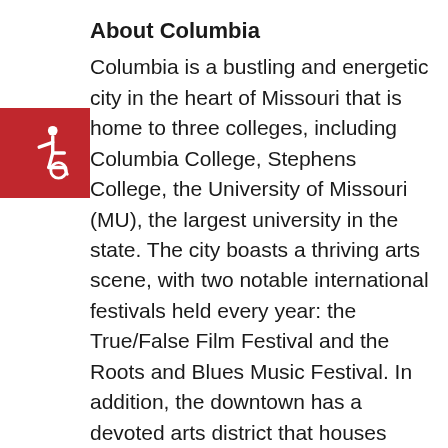About Columbia
[Figure (illustration): Wheelchair accessibility icon — white wheelchair symbol on red square background]
Columbia is a bustling and energetic city in the heart of Missouri that is home to three colleges, including Columbia College, Stephens College, the University of Missouri (MU), the largest university in the state. The city boasts a thriving arts scene, with two notable international festivals held every year: the True/False Film Festival and the Roots and Blues Music Festival. In addition, the downtown has a devoted arts district that houses many local visual artists who host a First Friday gallery walk every month with new art exhibits. The MU School of Music also shares a strong and developing partnership with MOSY that continues to